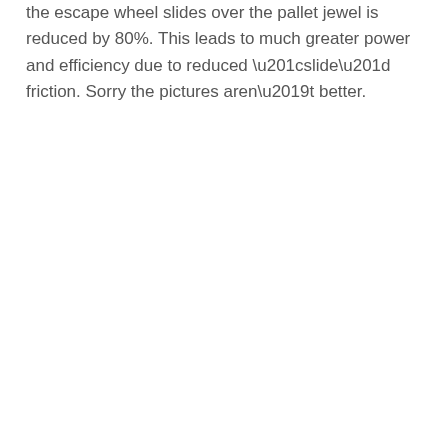the escape wheel slides over the pallet jewel is reduced by 80%. This leads to much greater power and efficiency due to reduced “slide” friction. Sorry the pictures aren’t better.